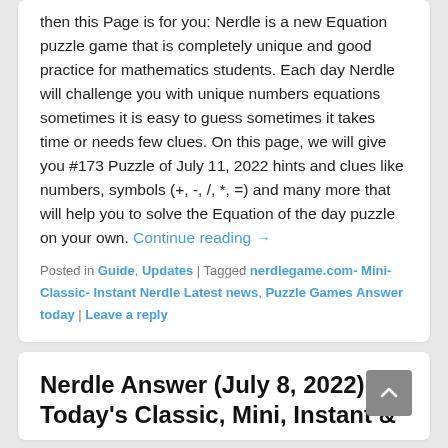then this Page is for you: Nerdle is a new Equation puzzle game that is completely unique and good practice for mathematics students. Each day Nerdle will challenge you with unique numbers equations sometimes it is easy to guess sometimes it takes time or needs few clues. On this page, we will give you #173 Puzzle of July 11, 2022 hints and clues like numbers, symbols (+, -, /, *, =) and many more that will help you to solve the Equation of the day puzzle on your own. Continue reading →
Posted in Guide, Updates | Tagged nerdlegame.com- Mini- Classic- Instant Nerdle Latest news, Puzzle Games Answer today | Leave a reply
Nerdle Answer (July 8, 2022): Today's Classic, Mini, Instant &